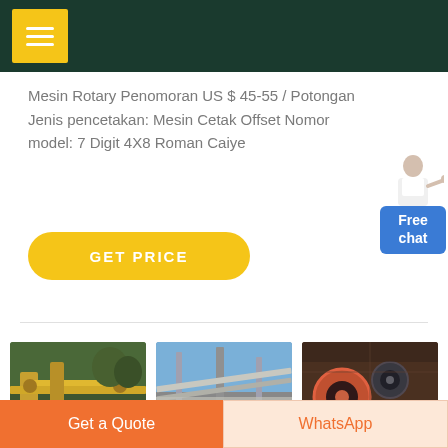Navigation header with menu button
Mesin Rotary Penomoran US $ 45-55 / Potongan Jenis pencetakan: Mesin Cetak Offset Nomor model: 7 Digit 4X8 Roman Caiye
[Figure (illustration): GET PRICE yellow rounded button]
[Figure (illustration): Free chat widget with person icon and blue chat box]
[Figure (photo): Three industrial/mining machinery photos side by side]
[Figure (other): Get a Quote orange button and WhatsApp button at bottom]